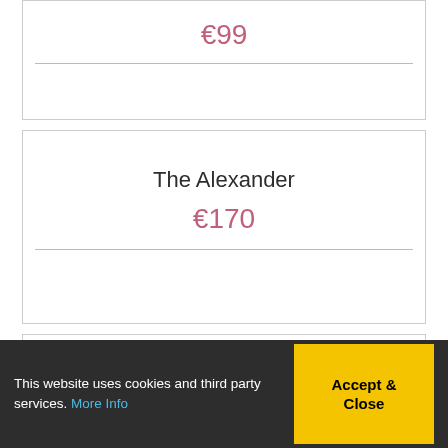Pampered to Perfection
€99
The Alexander
€170
Turn Back Time
€149
This website uses cookies and third party services. More Info
Accept & Close